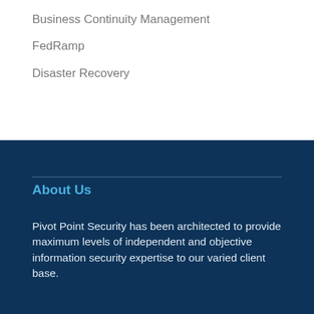Business Continuity Management
FedRamp
Disaster Recovery
About Us
Pivot Point Security has been architected to provide maximum levels of independent and objective information security expertise to our varied client base.